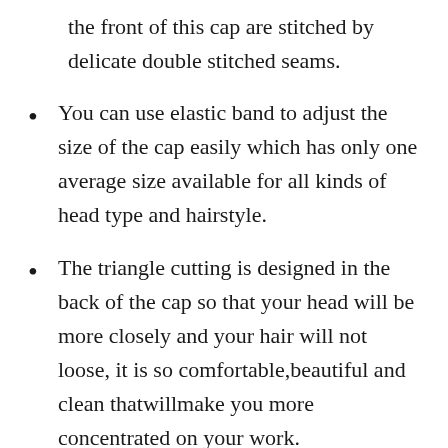the front of this cap are stitched by delicate double stitched seams.
You can use elastic band to adjust the size of the cap easily which has only one average size available for all kinds of head type and hairstyle.
The triangle cutting is designed in the back of the cap so that your head will be more closely and your hair will not loose, it is so comfortable,beautiful and clean thatwillmake you more concentrated on your work. Furthermore,compared with traditional craft,the serging and hemming technology used in making the triangle cutting of our product can stop cloth cuttings falling everywhere.
Built-in sweatband across the front end.Compared with the traditional craft,the serging and hemming technology